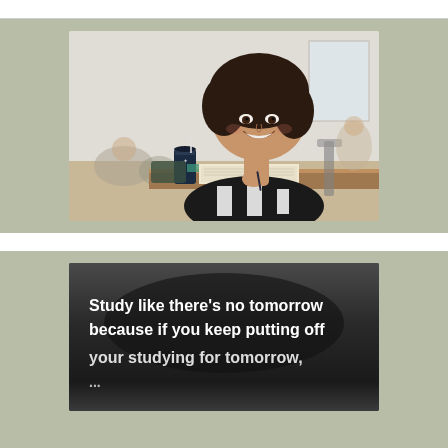[Figure (photo): A smiling young woman with curly dark hair sitting at a desk in a classroom, wearing a black and white patterned sweater, holding a pen over an open notebook, with a dark tumbler cup beside her and other students blurred in the background.]
[Figure (illustration): Dark background motivational quote image with bold white text reading: Study like there's no tomorrow because if you keep putting off (text continues below visible area).]